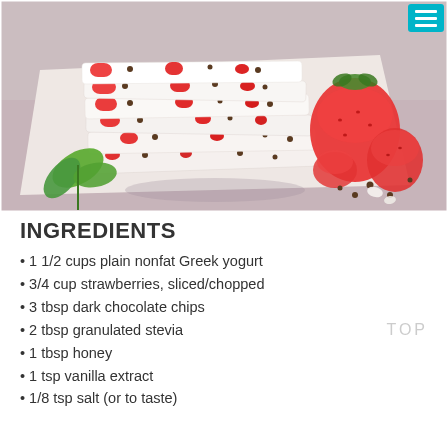[Figure (photo): Stack of frozen Greek yogurt bark with strawberries and dark chocolate chips on parchment paper, with fresh strawberries and mint leaves nearby]
INGREDIENTS
1 1/2 cups plain nonfat Greek yogurt
3/4 cup strawberries, sliced/chopped
3 tbsp dark chocolate chips
2 tbsp granulated stevia
1 tbsp honey
1 tsp vanilla extract
1/8 tsp salt (or to taste)